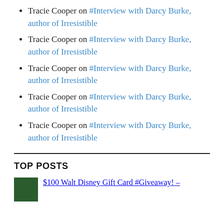Tracie Cooper on #Interview with Darcy Burke, author of Irresistible
Tracie Cooper on #Interview with Darcy Burke, author of Irresistible
Tracie Cooper on #Interview with Darcy Burke, author of Irresistible
Tracie Cooper on #Interview with Darcy Burke, author of Irresistible
Tracie Cooper on #Interview with Darcy Burke, author of Irresistible
TOP POSTS
$100 Walt Disney Gift Card #Giveaway! –